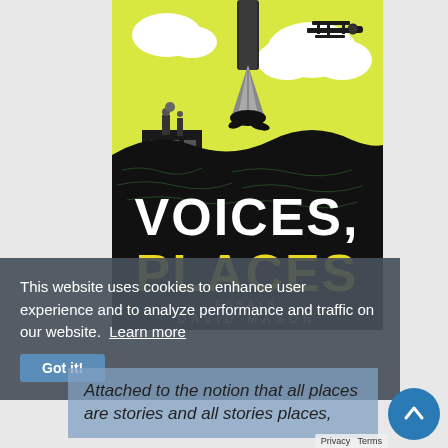[Figure (illustration): Book cover of 'Voices, Places' by David Mason. Illustrated cover showing a large fountain pen nib in the center against a yellow sky with clouds, a biplane in the upper right, an ocean liner ship on the left, dark waves at the bottom with handwritten script overlaid, and large bold text reading 'VOICES, PLACES' in white and yellow letters, with 'ESSAYS' and 'DAVID MASON' in smaller text below.]
This website uses cookies to enhance user experience and to analyze performance and traffic on our website. Learn more
Got it!
Attached to the notion that all places are stories and all stories places,